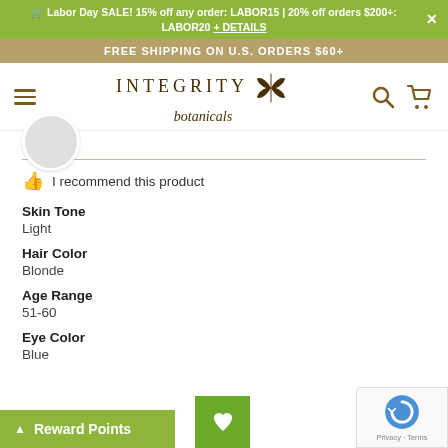🛒 Labor Day SALE! 15% off any order: LABOR15 | 20% off orders $200+: LABOR20 + DETAILS
FREE SHIPPING ON U.S. ORDERS $60+
[Figure (logo): Integrity Botanicals logo with butterfly illustration, hamburger menu icon, search icon, and cart icon]
I recommend this product
Skin Tone
Light
Hair Color
Blonde
Age Range
51-60
Eye Color
Blue
Reward Points